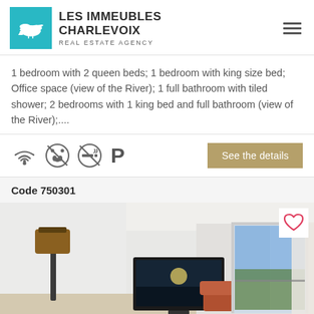LES IMMEUBLES CHARLEVOIX
REAL ESTATE AGENCY
1 bedroom with 2 queen beds; 1 bedroom with king size bed; Office space (view of the River); 1 full bathroom with tiled shower; 2 bedrooms with 1 king bed and full bathroom (view of the River);....
[Figure (infographic): Amenity icons: WiFi, no pets, no smoking, parking. Button: See the details]
Code 750301
[Figure (photo): Interior photo of a living room with a floor lamp, flat screen TV, sliding glass doors with a view of a balcony and river/landscape. Heart/favorite icon in top right corner.]